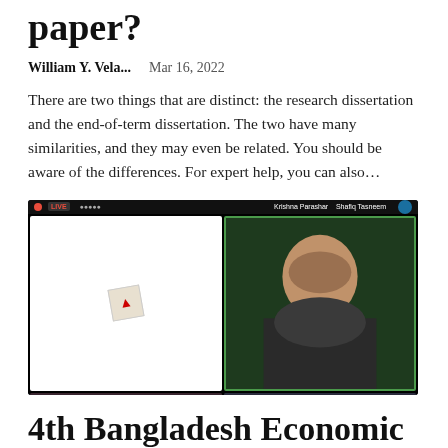paper?
William Y. Vela...    Mar 16, 2022
There are two things that are distinct: the research dissertation and the end-of-term dissertation. The two have many similarities, and they may even be related. You should be aware of the differences. For expert help, you can also...
[Figure (photo): Screenshot of a video conference call showing four participants: an older man with glasses (top left, highlighted with green border), a woman (top right), a young man (bottom left), and a young woman with glasses (bottom right). A logo/icon appears in the top-left corner of the call interface.]
4th Bangladesh Economic Summit Holds Research Paper Presentation Session